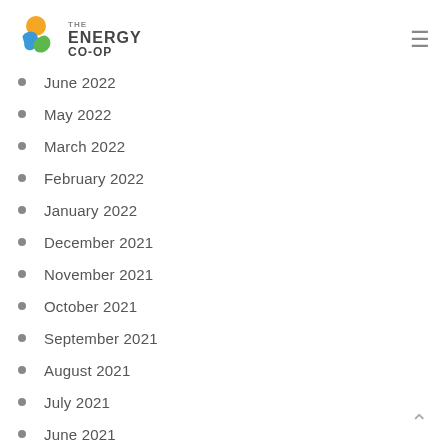THE ENERGY CO-OP
June 2022
May 2022
March 2022
February 2022
January 2022
December 2021
November 2021
October 2021
September 2021
August 2021
July 2021
June 2021
May 2021
April 2021